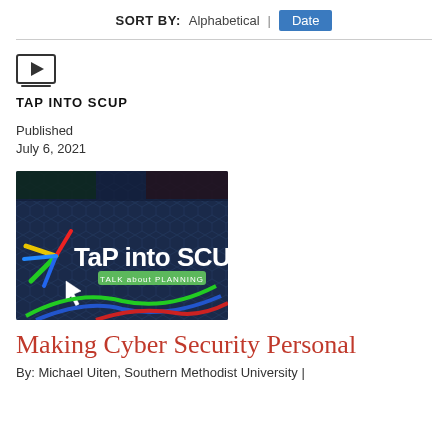SORT BY: Alphabetical | Date
TAP INTO SCUP
Published
July 6, 2021
[Figure (photo): TaP into SCUP podcast logo image with colorful lines and 'TALK about PLANNING' text on dark blue hexagonal background]
Making Cyber Security Personal
By: Michael Uiten, Southern Methodist University |